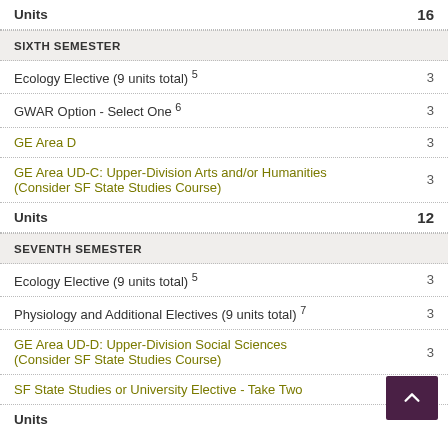| Course | Units |
| --- | --- |
| Units | 16 |
| SIXTH SEMESTER |  |
| Ecology Elective (9 units total) 5 | 3 |
| GWAR Option - Select One 6 | 3 |
| GE Area D | 3 |
| GE Area UD-C: Upper-Division Arts and/or Humanities (Consider SF State Studies Course) | 3 |
| Units | 12 |
| SEVENTH SEMESTER |  |
| Ecology Elective (9 units total) 5 | 3 |
| Physiology and Additional Electives (9 units total) 7 | 3 |
| GE Area UD-D: Upper-Division Social Sciences (Consider SF State Studies Course) | 3 |
| SF State Studies or University Elective - Take Two |  |
| Units | 15 |